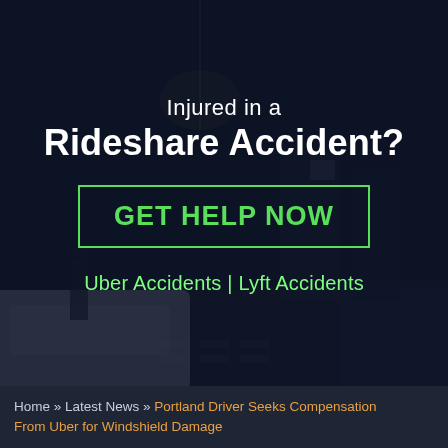[Figure (photo): Nighttime street scene with cars involved in an accident, police officer visible, dark blue tinted overlay]
Injured in a
Rideshare Accident?
GET HELP NOW
Uber Accidents | Lyft Accidents
Home » Latest News » Portland Driver Seeks Compensation From Uber for Windshield Damage